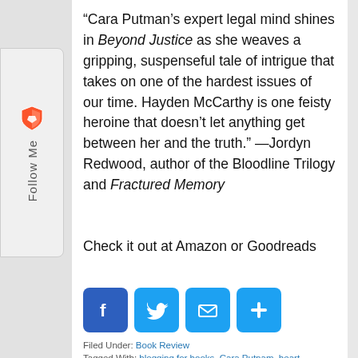[Figure (other): Brave browser Follow Me sidebar widget with shield icon]
“Cara Putman’s expert legal mind shines in Beyond Justice as she weaves a gripping, suspenseful tale of intrigue that takes on one of the hardest issues of our time. Hayden McCarthy is one feisty heroine that doesn’t let anything get between her and the truth.” —Jordyn Redwood, author of the Bloodline Trilogy and Fractured Memory
Check it out at Amazon or Goodreads
[Figure (other): Social sharing buttons row: Facebook, Twitter, Email, More]
Filed Under: Book Review
Tagged With: blogging for books, Cara Putnam, heart